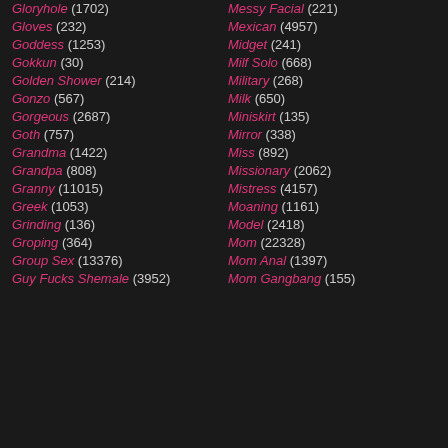Gloryhole (1702)
Messy Facial (221)
Gloves (232)
Mexican (4957)
Goddess (1253)
Midget (241)
Gokkun (30)
Milf Solo (668)
Golden Shower (214)
Military (268)
Gonzo (567)
Milk (650)
Gorgeous (2687)
Miniskirt (135)
Goth (757)
Mirror (338)
Grandma (1422)
Miss (892)
Grandpa (808)
Missionary (2062)
Granny (11015)
Mistress (4157)
Greek (1053)
Moaning (1161)
Grinding (136)
Model (2418)
Groping (364)
Mom (22328)
Group Sex (13376)
Mom Anal (1397)
Guy Fucks Shemale (3952)
Mom Gangbang (155)